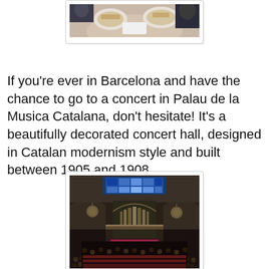[Figure (photo): Partial photo of people at a restaurant table with food plates visible, cropped at top of page]
If you're ever in Barcelona and have the chance to go to a concert in Palau de la Musica Catalana, don't hesitate! It's a beautifully decorated concert hall, designed in Catalan modernism style and built between 1905 and 1908.
[Figure (photo): Interior view of Palau de la Musica Catalana concert hall, showing ornate ceiling with blue stained glass, chandeliers, organ pipes, red seating, and audience filling the hall]